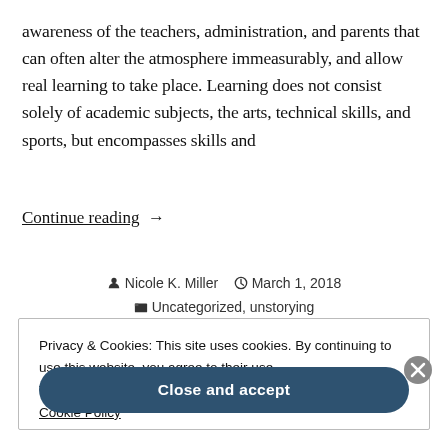awareness of the teachers, administration, and parents that can often alter the atmosphere immeasurably, and allow real learning to take place. Learning does not consist solely of academic subjects, the arts, technical skills, and sports, but encompasses skills and
Continue reading  →
Nicole K. Miller   March 1, 2018   Uncategorized, unstorying
Privacy & Cookies: This site uses cookies. By continuing to use this website, you agree to their use.
To find out more, including how to control cookies, see here: Cookie Policy
Close and accept